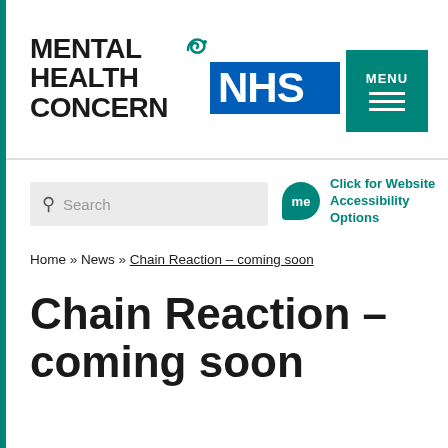[Figure (logo): Mental Health Concern logo with teal circular icon — bold uppercase text reading MENTAL HEALTH CONCERN]
[Figure (logo): NHS logo — white NHS text on blue rectangle]
[Figure (other): Teal MENU button with three horizontal white lines (hamburger menu)]
[Figure (other): Search bar with magnifying glass icon and placeholder text 'Search']
[Figure (other): Teal speech bubble icon with 'me' text next to 'Click for Website Accessibility Options']
Home » News » Chain Reaction – coming soon
Chain Reaction – coming soon